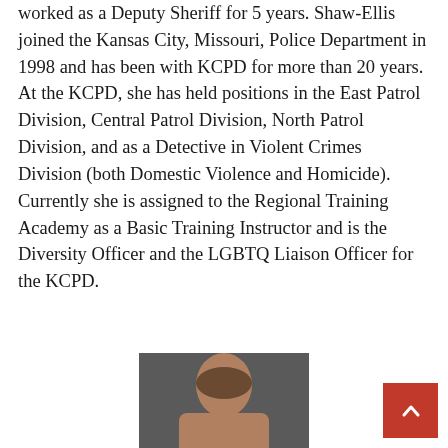worked as a Deputy Sheriff for 5 years. Shaw-Ellis joined the Kansas City, Missouri, Police Department in 1998 and has been with KCPD for more than 20 years. At the KCPD, she has held positions in the East Patrol Division, Central Patrol Division, North Patrol Division, and as a Detective in Violent Crimes Division (both Domestic Violence and Homicide). Currently she is assigned to the Regional Training Academy as a Basic Training Instructor and is the Diversity Officer and the LGBTQ Liaison Officer for the KCPD.
[Figure (photo): Headshot photo of a person, partially visible at bottom of page]